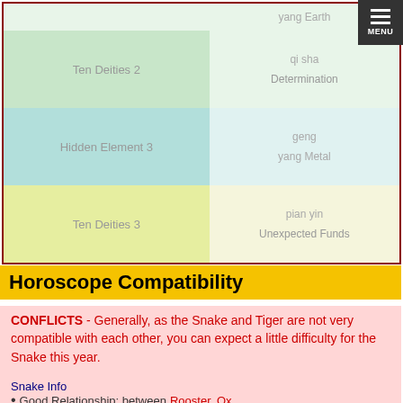| Category | Value 1 | Value 2 |
| --- | --- | --- |
|  | yang Earth |  |
| Ten Deities 2 | qi sha | Determination |
| Hidden Element 3 | geng | yang Metal |
| Ten Deities 3 | pian yin | Unexpected Funds |
Horoscope Compatibility
CONFLICTS - Generally, as the Snake and Tiger are not very compatible with each other, you can expect a little difficulty for the Snake this year.
Snake Info
Good Relationship: between Rooster, Ox...